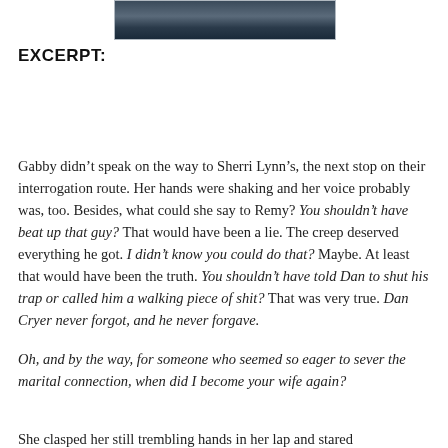[Figure (photo): A dark photographic image at the top of the page, appearing to show a dramatic outdoor or action scene with dark blue and grey tones.]
EXCERPT:
Gabby didn’t speak on the way to Sherri Lynn’s, the next stop on their interrogation route. Her hands were shaking and her voice probably was, too. Besides, what could she say to Remy? You shouldn’t have beat up that guy? That would have been a lie. The creep deserved everything he got. I didn’t know you could do that? Maybe. At least that would have been the truth. You shouldn’t have told Dan to shut his trap or called him a walking piece of shit? That was very true. Dan Cryer never forgot, and he never forgave.
Oh, and by the way, for someone who seemed so eager to sever the marital connection, when did I become your wife again?
She clasped her still trembling hands in her lap and stared